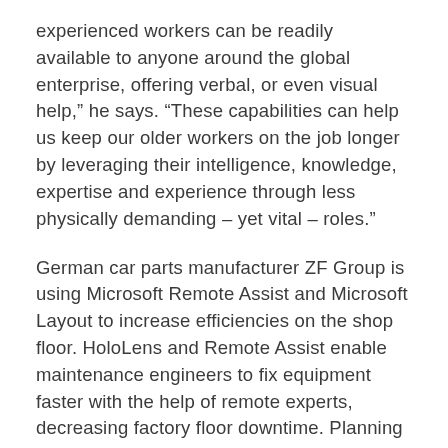experienced workers can be readily available to anyone around the global enterprise, offering verbal, or even visual help,” he says. “These capabilities can help us keep our older workers on the job longer by leveraging their intelligence, knowledge, expertise and experience through less physically demanding – yet vital – roles.”
German car parts manufacturer ZF Group is using Microsoft Remote Assist and Microsoft Layout to increase efficiencies on the shop floor. HoloLens and Remote Assist enable maintenance engineers to fix equipment faster with the help of remote experts, decreasing factory floor downtime. Planning engineers use HoloLens and Microsoft Layout to view spatial planning designs in the real-world shop floor environment, saving hours of work.
Ultimately, every manufacturing company transforming through new technology is creating a unique path that will be trodden by its people. Ensuring they have the skills to